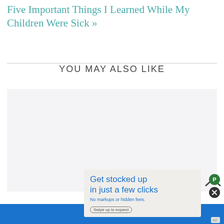Five Important Things I Learned While My Children Were Sick »
YOU MAY ALSO LIKE
[Figure (other): Light gray content placeholder area below 'YOU MAY ALSO LIKE' section]
[Figure (other): Advertisement overlay: 'Get stocked up in just a few clicks. No markups or hidden fees.' with 'Swipe up to expand' button, blue background bar at bottom, close button and P button on right side]